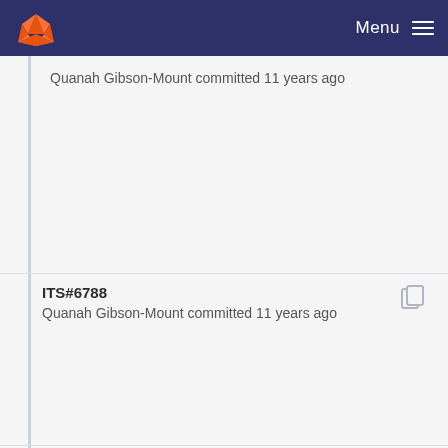Menu
Quanah Gibson-Mount committed 11 years ago
ITS#6788
Quanah Gibson-Mount committed 11 years ago
ITS#6790